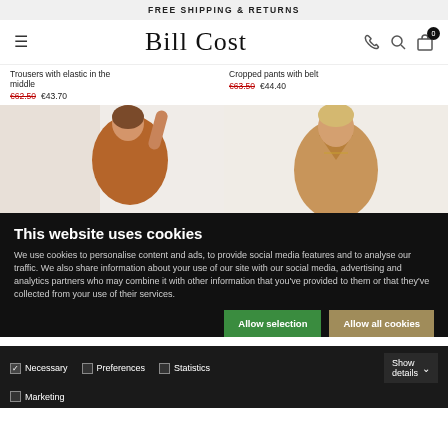FREE SHIPPING & RETURNS
[Figure (screenshot): Bill Cost e-commerce website navigation bar with hamburger menu, logo, phone icon, search icon, and cart icon with badge 0]
Trousers with elastic in the middle
€62.50  €43.70
Cropped pants with belt
€63.50  €44.40
[Figure (photo): Woman in brown top posing with arm raised, left product photo]
[Figure (photo): Woman in tan v-neck top, right product photo]
This website uses cookies
We use cookies to personalise content and ads, to provide social media features and to analyse our traffic. We also share information about your use of our site with our social media, advertising and analytics partners who may combine it with other information that you've provided to them or that they've collected from your use of their services.
Allow selection   Allow all cookies
Necessary   Preferences   Statistics   Show details
Marketing